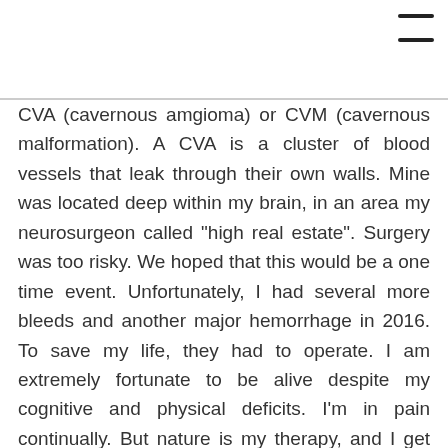≡
CVA (cavernous amgioma) or CVM (cavernous malformation). A CVA is a cluster of blood vessels that leak through their own walls. Mine was located deep within my brain, in an area my neurosurgeon called "high real estate". Surgery was too risky. We hoped that this would be a one time event. Unfortunately, I had several more bleeds and another major hemorrhage in 2016. To save my life, they had to operate. I am extremely fortunate to be alive despite my cognitive and physical deficits. I'm in pain continually. But nature is my therapy, and I get out as much as I can. My advice? Accept help. Much love to all misfit hikers out there!—Dana, (@mrs.hangle).
.
Pronouns: She/Her
.
Dana would like to give a shout-out: I am not